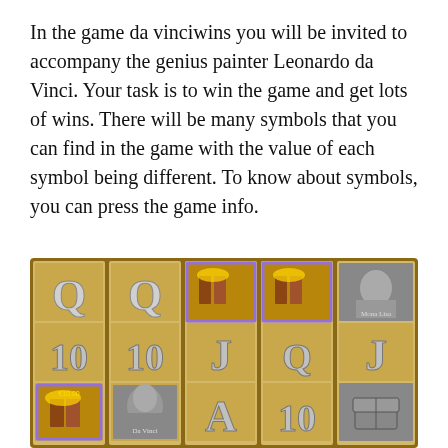In the game da vinciwins you will be invited to accompany the genius painter Leonardo da Vinci. Your task is to win the game and get lots of wins. There will be many symbols that you can find in the game with the value of each symbol being different. To know about symbols, you can press the game info.
[Figure (screenshot): Screenshot of da vinciwins slot machine game showing 5 reels with symbols including Q, 10, J, A and special symbols like Mona Lisa portrait, books, Leonardo da Vinci portrait, and a treasure chest. Some reels have purple highlighted winning symbols.]